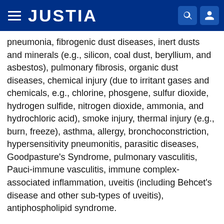JUSTIA
pneumonia, fibrogenic dust diseases, inert dusts and minerals (e.g., silicon, coal dust, beryllium, and asbestos), pulmonary fibrosis, organic dust diseases, chemical injury (due to irritant gases and chemicals, e.g., chlorine, phosgene, sulfur dioxide, hydrogen sulfide, nitrogen dioxide, ammonia, and hydrochloric acid), smoke injury, thermal injury (e.g., burn, freeze), asthma, allergy, bronchoconstriction, hypersensitivity pneumonitis, parasitic diseases, Goodpasture's Syndrome, pulmonary vasculitis, Pauci-immune vasculitis, immune complex-associated inflammation, uveitis (including Behcet's disease and other sub-types of uveitis), antiphospholipid syndrome.
In a specific embodiment, the present invention provides methods of treating a complement related disease or disorder by administering to a subject in